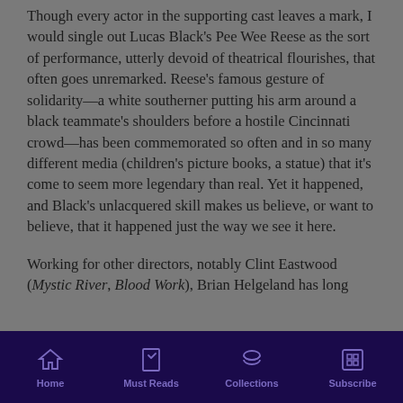Though every actor in the supporting cast leaves a mark, I would single out Lucas Black's Pee Wee Reese as the sort of performance, utterly devoid of theatrical flourishes, that often goes unremarked. Reese's famous gesture of solidarity—a white southerner putting his arm around a black teammate's shoulders before a hostile Cincinnati crowd—has been commemorated so often and in so many different media (children's picture books, a statue) that it's come to seem more legendary than real. Yet it happened, and Black's unlacquered skill makes us believe, or want to believe, that it happened just the way we see it here.
Working for other directors, notably Clint Eastwood (Mystic River, Blood Work), Brian Helgeland has long
Home | Must Reads | Collections | Subscribe